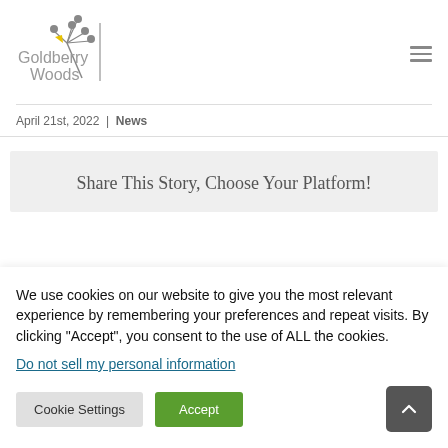[Figure (logo): Goldberry Woods logo with stylized plant/berry graphic in gray and yellow, and gray sans-serif text reading 'Goldberry Woods']
April 21st, 2022 | News
Share This Story, Choose Your Platform!
We use cookies on our website to give you the most relevant experience by remembering your preferences and repeat visits. By clicking "Accept", you consent to the use of ALL the cookies.
Do not sell my personal information.